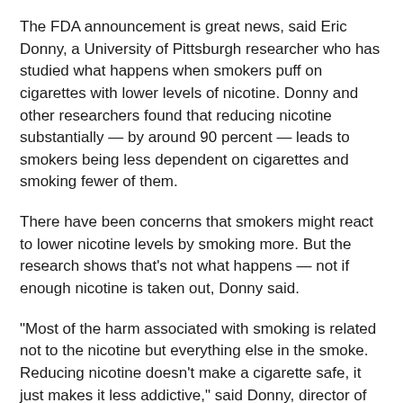The FDA announcement is great news, said Eric Donny, a University of Pittsburgh researcher who has studied what happens when smokers puff on cigarettes with lower levels of nicotine. Donny and other researchers found that reducing nicotine substantially — by around 90 percent — leads to smokers being less dependent on cigarettes and smoking fewer of them.
There have been concerns that smokers might react to lower nicotine levels by smoking more. But the research shows that's not what happens — not if enough nicotine is taken out, Donny said.
"Most of the harm associated with smoking is related not to the nicotine but everything else in the smoke. Reducing nicotine doesn't make a cigarette safe, it just makes it less addictive," said Donny, director of Pitt's Center for the Evaluation of Nicotine in Cigarettes.